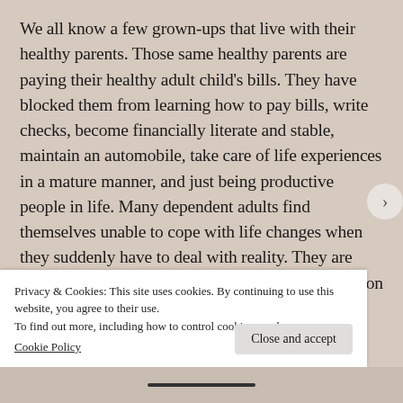We all know a few grown-ups that live with their healthy parents. Those same healthy parents are paying their healthy adult child's bills. They have blocked them from learning how to pay bills, write checks, become financially literate and stable, maintain an automobile, take care of life experiences in a mature manner, and just being productive people in life. Many dependent adults find themselves unable to cope with life changes when they suddenly have to deal with reality. They are unable to use their critical-thinking skills or common sense. The sense of entitlement kicks in, and they continue to feel that
Privacy & Cookies: This site uses cookies. By continuing to use this website, you agree to their use.
To find out more, including how to control cookies, see here:
Cookie Policy